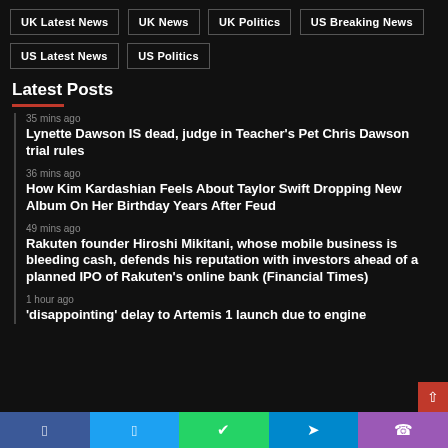UK Latest News
UK News
UK Politics
US Breaking News
US Latest News
US Politics
Latest Posts
35 mins ago
Lynette Dawson IS dead, judge in Teacher's Pet Chris Dawson trial rules
36 mins ago
How Kim Kardashian Feels About Taylor Swift Dropping New Album On Her Birthday Years After Feud
49 mins ago
Rakuten founder Hiroshi Mikitani, whose mobile business is bleeding cash, defends his reputation with investors ahead of a planned IPO of Rakuten's online bank (Financial Times)
1 hour ago
'disappointing' delay to Artemis 1 launch due to engine…